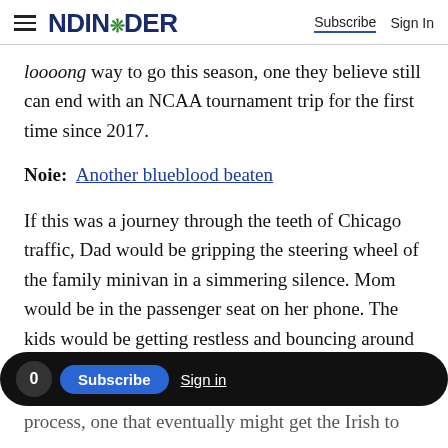NDINSiDER   Subscribe   Sign In
loooong way to go this season, one they believe still can end with an NCAA tournament trip for the first time since 2017.
Noie:  Another blueblood beaten
If this was a journey through the teeth of Chicago traffic, Dad would be gripping the steering wheel of the family minivan in a simmering silence. Mom would be in the passenger seat on her phone. The kids would be getting restless and bouncing around in the back, anxious to ask how much longer.
0  Subscribe  Sign in  [icons]
process, one that eventually might get the Irish to